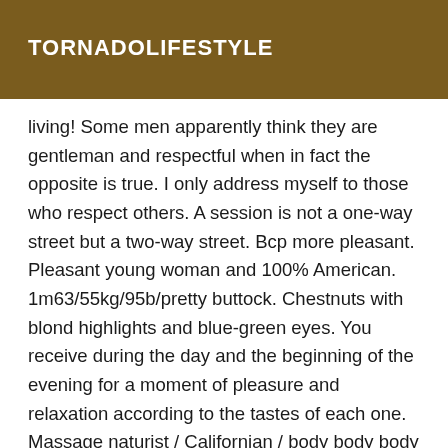TORNADOLIFESTYLE
living! Some men apparently think they are gentleman and respectful when in fact the opposite is true. I only address myself to those who respect others. A session is not a one-way street but a two-way street. Bcp more pleasant. Pleasant young woman and 100% American. 1m63/55kg/95b/pretty buttock. Chestnuts with blond highlights and blue-green eyes. You receive during the day and the beginning of the evening for a moment of pleasure and relaxation according to the tastes of each one. Massage naturist / Californian / body body body / prostate massage ... language games! Men courteous and serious requested! sms accepted even recommended for sending information! I take online only people who want an appointment on the same day! no mail or hidden number. Thank you for your time! Serious guaranteed but bcp of curious people take and abuse our time so sms already allow me to eliminate the undesirables...! The pleasure of your contact, to a direct